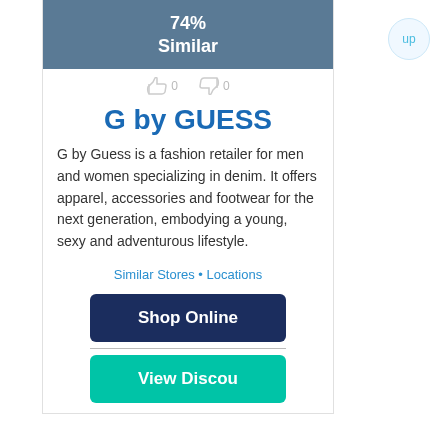[Figure (screenshot): Similarity badge showing 74% Similar in a dark blue-grey box]
G by GUESS
G by Guess is a fashion retailer for men and women specializing in denim. It offers apparel, accessories and footwear for the next generation, embodying a young, sexy and adventurous lifestyle.
Similar Stores • Locations
[Figure (screenshot): Shop Online button (dark navy blue, rounded)]
[Figure (screenshot): View Discount button (teal/green, rounded, partially visible)]